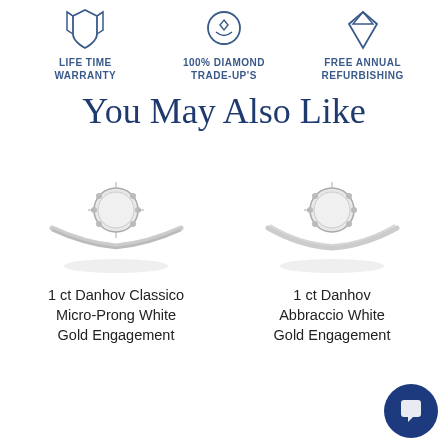[Figure (illustration): Three icons in a row: LIFE TIME WARRANTY (crown/ribbon icon), 100% DIAMOND TRADE-UP'S (diamond icon), FREE ANNUAL REFURBISHING (diamond/gem icon)]
You May Also Like
[Figure (photo): 1 ct Danhov Classico Micro-Prong White Gold Engagement ring on white background]
[Figure (photo): 1 ct Danhov Abbraccio White Gold Engagement ring on white background]
1 ct Danhov Classico Micro-Prong White Gold Engagement
1 ct Danhov Abbraccio White Gold Engagement